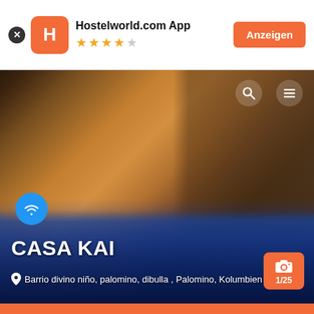[Figure (screenshot): Hostelworld.com App banner with logo, 4.5 star rating, and Anzeigen button]
[Figure (photo): Interior photo of Casa Kai hostel showing a swimming pool, stone wall with warm lighting, wooden ceiling, and outdoor seating area in Palomino, Colombia]
CASA KAI
Barrio divino niño, palomino, dibulla , Palomino, Kolumbien